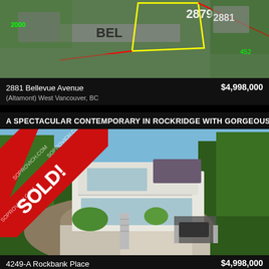[Figure (photo): Aerial satellite view of 2881 Bellevue Avenue property with yellow outline marking the lot boundary, numbers 2879 visible]
2881 Bellevue Avenue
(Altamont) West Vancouver, BC
$4,998,000
A SPECTACULAR CONTEMPORARY IN ROCKRIDGE WITH GORGEOUS OCEA...
[Figure (photo): Exterior photo of modern contemporary home at 4249-A Rockbank Place, West Vancouver BC. Multi-level glass and concrete structure with SOLD! watermark overlay from soprovich.com. Car in garage, rocky hillside landscaping, surrounded by tall trees.]
4249-A Rockbank Place
(Rockridge) West Vancouver, BC
$4,998,000